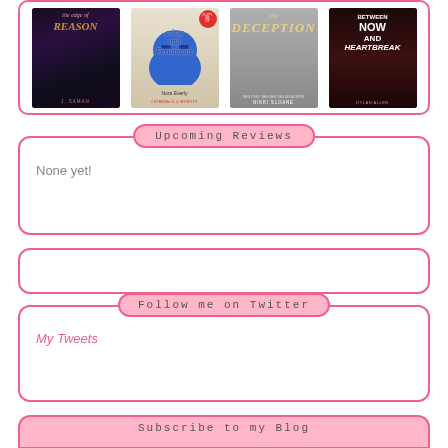[Figure (illustration): Four book covers displayed side by side: 'The Edge of Reason' by J. Saman, 'Crime and Periodicals' by Nora Everly, 'The Deception' by Nikki Sloane, 'Between Now and Heartbreak' by Dylan Allen]
Upcoming Reviews
None yet!
Follow me on Twitter
My Tweets
Subscribe to my Blog